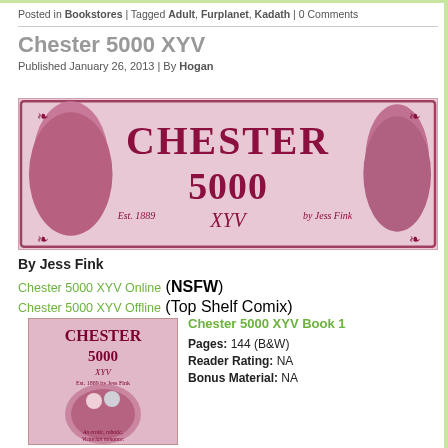Posted in Bookstores | Tagged Adult, Furplanet, Kadath | 0 Comments
Chester 5000 XYV
Published January 26, 2013 | By Hogan
[Figure (illustration): Chester 5000 XYV banner image with title text and character illustrations in pink/maroon color scheme. Est. 1889, by Jess Fink.]
By Jess Fink
Chester 5000 XYV Online (NSFW)
Chester 5000 XYV Offline (Top Shelf Comix)
[Figure (illustration): Chester 5000 XYV Book 1 cover art showing a robot and woman in a Victorian romance scene. Text: An erotic, robotic, Victorian romance.]
Chester 5000 XYV Book 1
Pages: 144 (B&W)
Reader Rating: NA
Bonus Material: NA